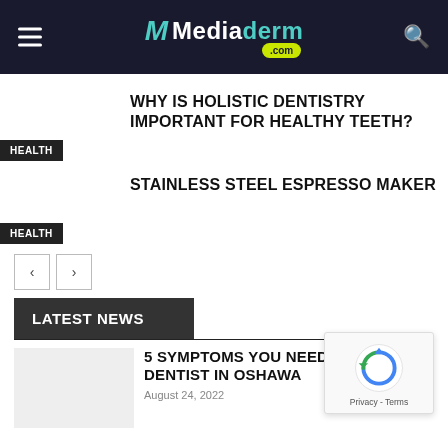Mediaderm.com
WHY IS HOLISTIC DENTISTRY IMPORTANT FOR HEALTHY TEETH?
STAINLESS STEEL ESPRESSO MAKER
LATEST NEWS
5 SYMPTOMS YOU NEED TO CONSULT A DENTIST IN OSHAWA
August 24, 2022